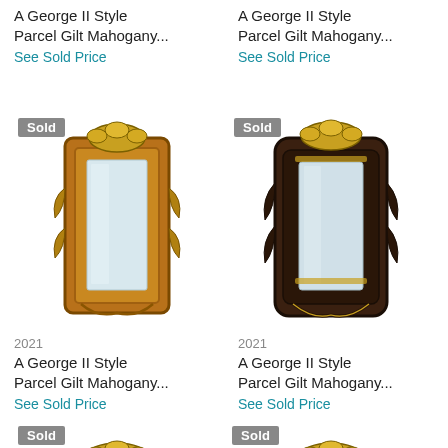A George II Style Parcel Gilt Mahogany...
See Sold Price
A George II Style Parcel Gilt Mahogany...
See Sold Price
[Figure (photo): George II Style Parcel Gilt Mahogany mirror with Sold badge, ornate carved frame, warm mahogany color]
[Figure (photo): George II Style Parcel Gilt Mahogany mirror with Sold badge, ornate dark carved frame]
2021
2021
A George II Style Parcel Gilt Mahogany...
See Sold Price
A George II Style Parcel Gilt Mahogany...
See Sold Price
[Figure (photo): George II Style Parcel Gilt Mahogany mirror with Sold badge, partial view at bottom of page]
[Figure (photo): George II Style Parcel Gilt Mahogany mirror with Sold badge, partial view at bottom of page]